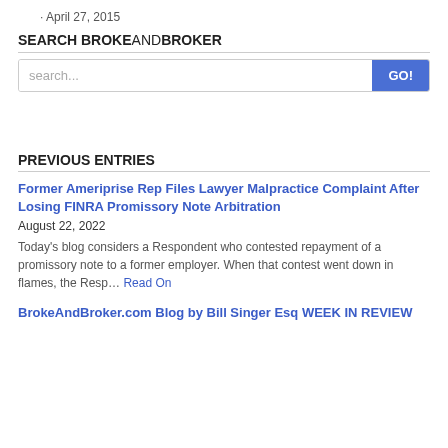April 27, 2015
SEARCH BROKEANDBROKER
search...
PREVIOUS ENTRIES
Former Ameriprise Rep Files Lawyer Malpractice Complaint After Losing FINRA Promissory Note Arbitration
August 22, 2022
Today's blog considers a Respondent who contested repayment of a promissory note to a former employer. When that contest went down in flames, the Resp... Read On
BrokeAndBroker.com Blog by Bill Singer Esq WEEK IN REVIEW